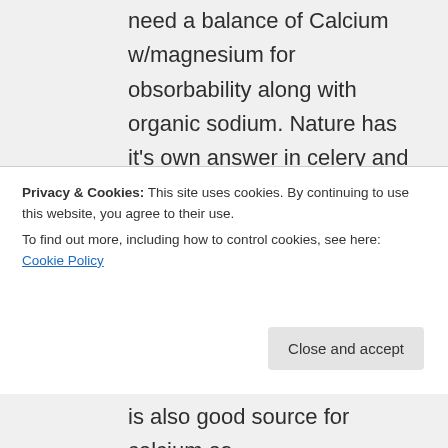need a balance of Calcium w/magnesium for obsorbability along with organic sodium. Nature has it's own answer in celery and okra, organic sodium keeps calcium liquified in the body so it can be obsorbed. Juicing is one of the best ways to get enough organic sodium. Try a combination of beets (liver cleanser) celery (organic sodium) carrots (beta carotene) and an
Privacy & Cookies: This site uses cookies. By continuing to use this website, you agree to their use. To find out more, including how to control cookies, see here: Cookie Policy
is also good source for calcium as